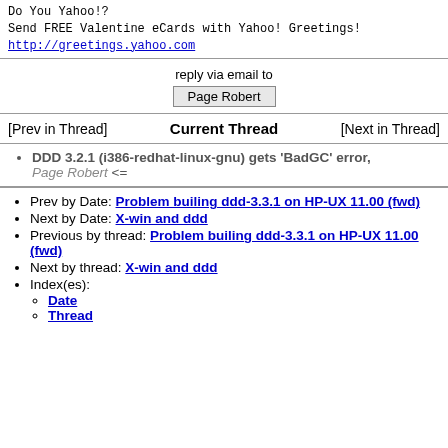Do You Yahoo!?
Send FREE Valentine eCards with Yahoo! Greetings!
http://greetings.yahoo.com
reply via email to
Page Robert
[Prev in Thread]   Current Thread   [Next in Thread]
DDD 3.2.1 (i386-redhat-linux-gnu) gets 'BadGC' error, Page Robert <=
Prev by Date: Problem builing ddd-3.3.1 on HP-UX 11.00 (fwd)
Next by Date: X-win and ddd
Previous by thread: Problem builing ddd-3.3.1 on HP-UX 11.00 (fwd)
Next by thread: X-win and ddd
Index(es): Date Thread